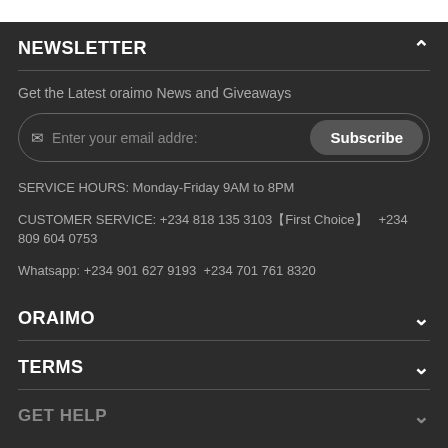NEWSLETTER
Get the Latest oraimo News and Giveaways
Enter your email addre: Subscribe
SERVICE HOURS: Monday-Friday 9AM to 8PM
CUSTOMER SERVICE: +234 818 135 3103【First Choice】 +234 809 604 0753
Whatsapp: +234 901 627 9193  +234 701 761 8320
ORAIMO
TERMS
GET HELP